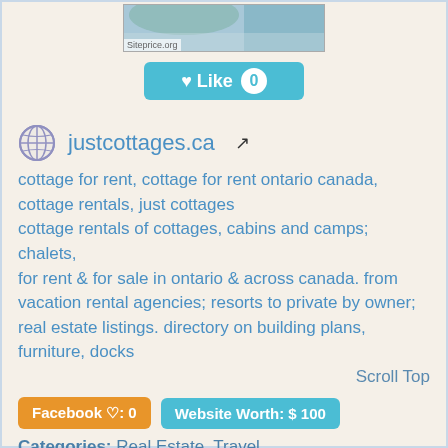[Figure (photo): Partial website screenshot/thumbnail image with Siteprice.org watermark]
♥ Like 0
justcottages.ca ↗
cottage for rent, cottage for rent ontario canada, cottage rentals, just cottages
cottage rentals of cottages, cabins and camps; chalets, for rent & for sale in ontario & across canada. from vacation rental agencies; resorts to private by owner; real estate listings. directory on building plans, furniture, docks
Scroll Top
Facebook ♡: 0
Website Worth: $ 100
Categories: Real Estate, Travel
Is it similar?
👍 Yes 0
👎 No 0